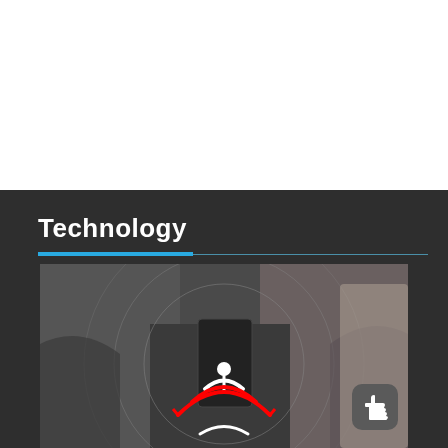Technology
[Figure (photo): Person in a suit holding a smartphone with a red and white WiFi/signal broadcast icon overlaid on top, with concentric grey circles suggesting wireless signal emanating from the device.]